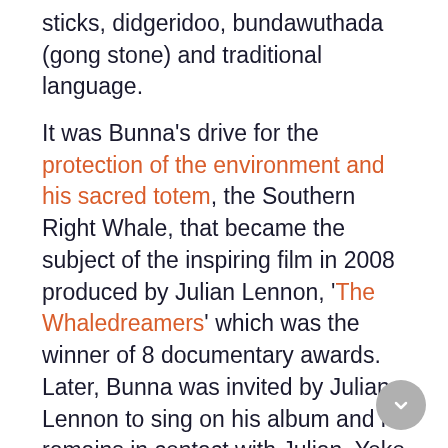sticks, didgeridoo, bundawuthada (gong stone) and traditional language.
It was Bunna's drive for the protection of the environment and his sacred totem, the Southern Right Whale, that became the subject of the inspiring film in 2008 produced by Julian Lennon, 'The Whaledreamers' which was the winner of 8 documentary awards. Later, Bunna was invited by Julian Lennon to sing on his album and he remains in contact with Julian, Yoko Ono and the White Feather Foundation.
I'm pretty much suffering for land, trying to teach people how to respect the Earth. I was born to do that [and] I love doing it because it's about